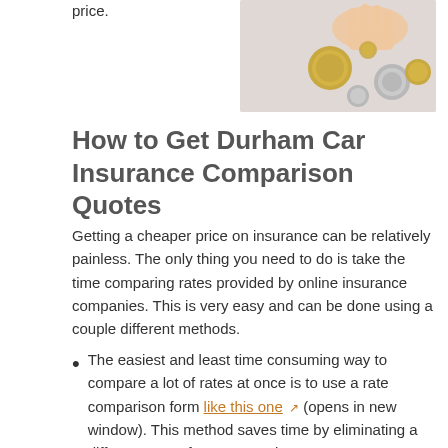price.
[Figure (photo): Hand dropping coins onto a surface, showing several gold/silver coins scattered]
How to Get Durham Car Insurance Comparison Quotes
Getting a cheaper price on insurance can be relatively painless. The only thing you need to do is take the time comparing rates provided by online insurance companies. This is very easy and can be done using a couple different methods.
The easiest and least time consuming way to compare a lot of rates at once is to use a rate comparison form like this one (opens in new window). This method saves time by eliminating a different quote for every car insurance company. A single, simple form will get you rate comparisons from several companies. This is by far the quickest method.
A harder way to compare rate quotes is to manually visit each company website and request a quote. For